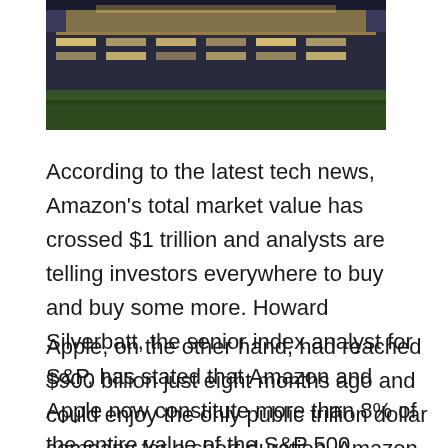[Figure (photo): Night-time or dusk photo of a large building or facility, illuminated with lights, with a green grassy foreground]
According to the latest tech news, Amazon's total market value has crossed $1 trillion and analysts are telling investors everywhere to buy and buy some more. Howard Silverbatt, the senior index analyst for S&P, has stated that Amazon and Apple now constitute more than 8% of the entire value of the S&P 500.
Apple, on the other hand, had reached $900 billion just eight months ago and could enjoy the only public trillion dollar company for a short duration. Amazon soon followed suit and became the second